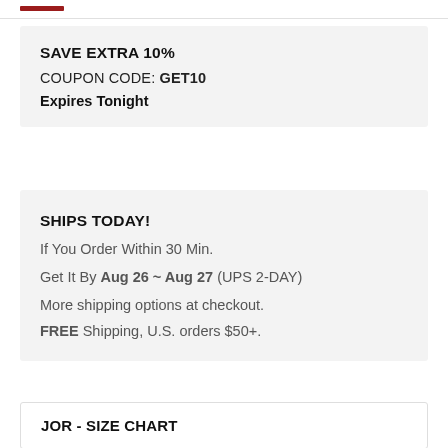SAVE EXTRA 10%
COUPON CODE: GET10
Expires Tonight
SHIPS TODAY!
If You Order Within 30 Min.
Get It By Aug 26 ~ Aug 27 (UPS 2-DAY)
More shipping options at checkout.
FREE Shipping, U.S. orders $50+.
JOR - SIZE CHART